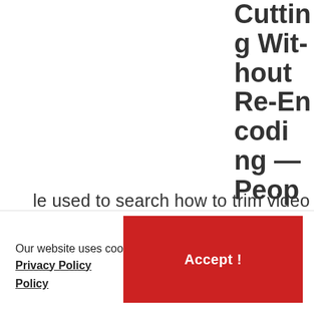Cutting Without Re-Encoding — People used to search how to trim video without rendering the file again? How to crop video without
Our website uses cookies to improve your experience. Privacy Policy
Accept!